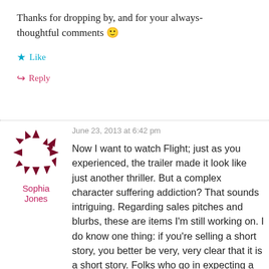Thanks for dropping by, and for your always-thoughtful comments 🙂
★ Like
↪ Reply
June 23, 2013 at 6:42 pm
Sophia Jones
Now I want to watch Flight; just as you experienced, the trailer made it look like just another thriller. But a complex character suffering addiction? That sounds intriguing. Regarding sales pitches and blurbs, these are items I'm still working on. I do know one thing: if you're selling a short story, you better be very, very clear that it is a short story. Folks who go in expecting a